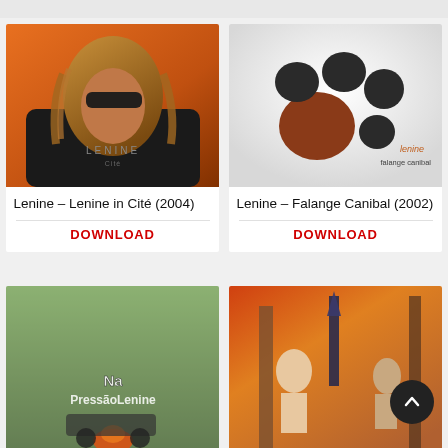[Figure (photo): Album cover for Lenine - Lenine in Cité (2004), showing a man with long hair and sunglasses wearing a black shirt with LENINE Cité text]
Lenine – Lenine in Cité (2004)
DOWNLOAD
[Figure (photo): Album cover for Lenine - Falange Canibal (2002), showing an animal paw print on white background with lenine / falange canibal text]
Lenine – Falange Canibal (2002)
DOWNLOAD
[Figure (photo): Album cover showing NaPressãoLenine text over an outdoor smoky scene]
[Figure (photo): Album cover showing retro sci-fi style illustration with figures and a sword/rocket]